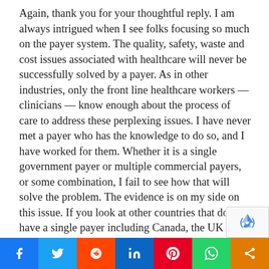Again, thank you for your thoughtful reply. I am always intrigued when I see folks focusing so much on the payer system. The quality, safety, waste and cost issues associated with healthcare will never be successfully solved by a payer. As in other industries, only the front line healthcare workers — clinicians — know enough about the process of care to address these perplexing issues. I have never met a payer who has the knowledge to do so, and I have worked for them. Whether it is a single government payer or multiple commercial payers, or some combination, I fail to see how that will solve the problem. The evidence is on my side on this issue. If you look at other countries that do have a single payer including Canada, the UK and other industrialized
Social share bar: Facebook, Twitter, Reddit, LinkedIn, Pinterest, WhatsApp, Share